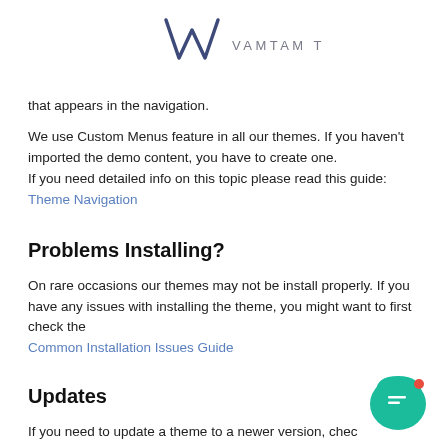VAMTAM THEMES
that appears in the navigation.
We use Custom Menus feature in all our themes. If you haven't imported the demo content, you have to create one.
If you need detailed info on this topic please read this guide:
Theme Navigation
Problems Installing?
On rare occasions our themes may not be install properly. If you have any issues with installing the theme, you might want to first check the
Common Installation Issues Guide
Updates
If you need to update a theme to a newer version, check the guide:
Update Guide